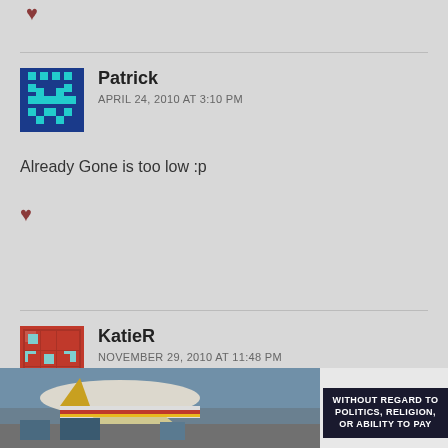♥
Patrick
APRIL 24, 2010 AT 3:10 PM
Already Gone is too low :p
♥
KatieR
NOVEMBER 29, 2010 AT 11:48 PM
eww, Ticks :P I admit, I'm not a huge Paisley fan. I don't like
[Figure (photo): Advertisement banner with airplane photo and text WITHOUT REGARD TO POLITICS, RELIGION, OR ABILITY TO PAY]